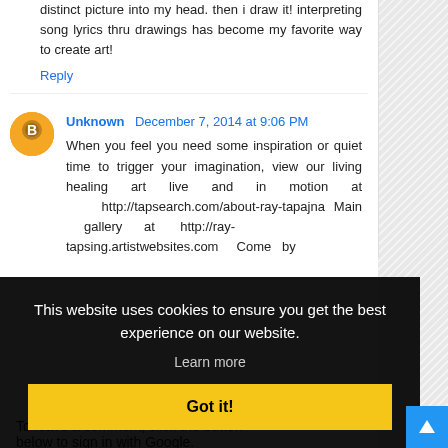distinct picture into my head. then i draw it! interpreting song lyrics thru drawings has become my favorite way to create art!
Reply
Unknown December 7, 2014 at 9:06 PM
When you feel you need some inspiration or quiet time to trigger your imagination, view our living healing art live and in motion at http://tapsearch.com/about-ray-tapajna Main gallery at http://ray-tapsing.artistwebsites.com Come by
This website uses cookies to ensure you get the best experience on our website.
Learn more
Got it!
To leave a comment, click the button below to sign in with Google.